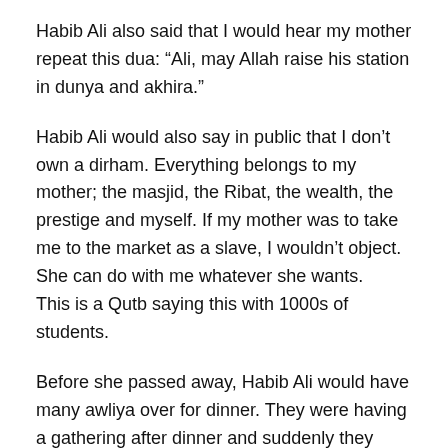Habib Ali also said that I would hear my mother repeat this dua: “Ali, may Allah raise his station in dunya and akhira.”
Habib Ali would also say in public that I don’t own a dirham. Everything belongs to my mother; the masjid, the Ribat, the wealth, the prestige and myself. If my mother was to take me to the market as a slave, I wouldn’t object. She can do with me whatever she wants.
This is a Qutb saying this with 1000s of students.
Before she passed away, Habib Ali would have many awliya over for dinner. They were having a gathering after dinner and suddenly they heard a voice behind the curtain. Hababa Alawiya was addressing them, “O those in this gathering, bear witness I am pleased with my son, Ali. Bear witness for me that he never disobeyed me.”